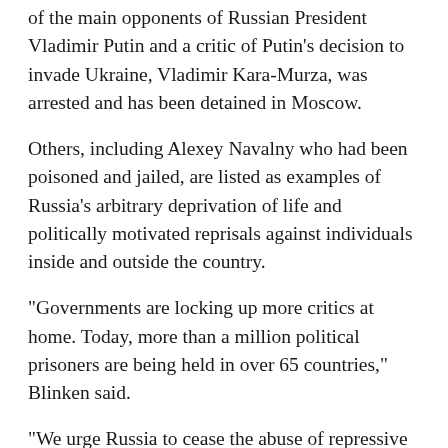of the main opponents of Russian President Vladimir Putin and a critic of Putin's decision to invade Ukraine, Vladimir Kara-Murza, was arrested and has been detained in Moscow.
Others, including Alexey Navalny who had been poisoned and jailed, are listed as examples of Russia's arbitrary deprivation of life and politically motivated reprisals against individuals inside and outside the country.
"Governments are locking up more critics at home. Today, more than a million political prisoners are being held in over 65 countries," Blinken said.
"We urge Russia to cease the abuse of repressive laws" to target its own citizens, nonviolent and peaceful protesters, as well as individuals who are doing nothing more than advocating their universal